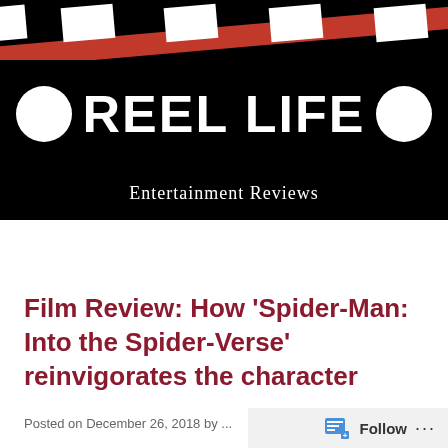[Figure (logo): Reel Life Entertainment Reviews logo — film clapperboard design with black and white strips, red diagonal stripe, large white REEL LIFE text on black bar with circular reels on each side, and 'Entertainment Reviews' subtitle below]
Menu
Film Review: How ‘Spider-Man: Into the Spider-Verse’ reinvigorates the character
Posted on December 26, 2018 by ...